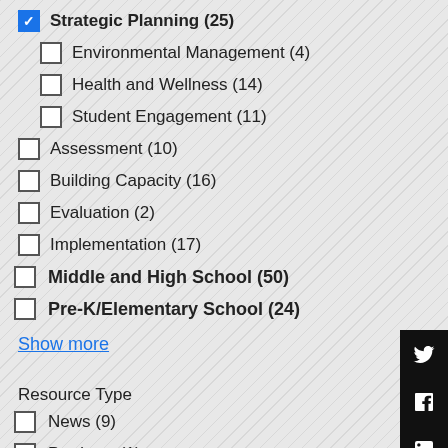Strategic Planning (25) [checked]
Environmental Management (4)
Health and Wellness (14)
Student Engagement (11)
Assessment (10)
Building Capacity (16)
Evaluation (2)
Implementation (17)
Middle and High School (50)
Pre-K/Elementary School (24)
Show more
Resource Type
News (9)
Products (1)
Research (11)